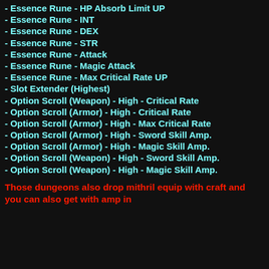- Essence Rune - HP Absorb Limit UP
- Essence Rune - INT
- Essence Rune - DEX
- Essence Rune - STR
- Essence Rune - Attack
- Essence Rune - Magic Attack
- Essence Rune - Max Critical Rate UP
- Slot Extender (Highest)
- Option Scroll (Weapon) - High - Critical Rate
- Option Scroll (Armor) - High - Critical Rate
- Option Scroll (Armor) - High - Max Critical Rate
- Option Scroll (Armor) - High - Sword Skill Amp.
- Option Scroll (Armor) - High - Magic Skill Amp.
- Option Scroll (Weapon) - High - Sword Skill Amp.
- Option Scroll (Weapon) - High - Magic Skill Amp.
Those dungeons also drop mithril equip with craft and you can also get with amp in